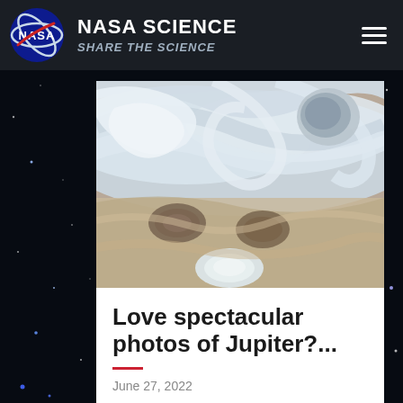NASA SCIENCE — SHARE THE SCIENCE
[Figure (photo): Close-up photo of Jupiter's cloud bands and storm systems, showing swirling bluish-white clouds and oval storm spots]
Love spectacular photos of Jupiter?...
June 27, 2022